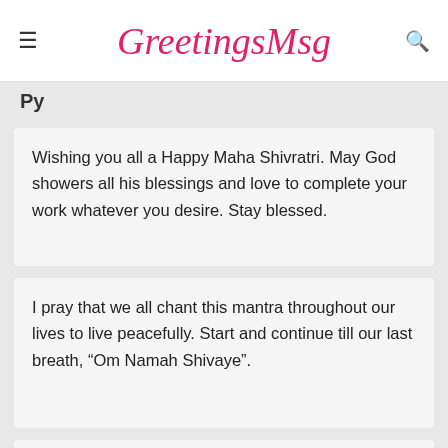GreetingsMsg
Py
Wishing you all a Happy Maha Shivratri. May God showers all his blessings and love to complete your work whatever you desire. Stay blessed.
I pray that we all chant this mantra throughout our lives to live peacefully. Start and continue till our last breath, “Om Namah Shivaye”.
If we worship God and have faith in him, he will come towards us to shower his blessings. Let’s celebrate this day with Lord Shiva and wish you a very Happy Maha Shivratri.